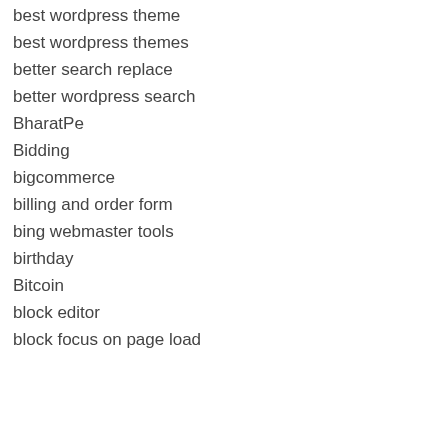best wordpress theme
best wordpress themes
better search replace
better wordpress search
BharatPe
Bidding
bigcommerce
billing and order form
bing webmaster tools
birthday
Bitcoin
block editor
block focus on page load